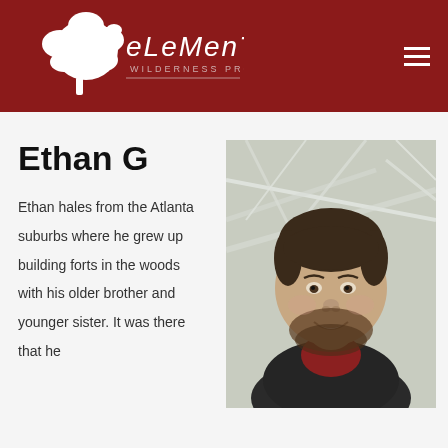[Figure (logo): Elements Wilderness Program logo — white tree silhouette with 'ELEMENTS WILDERNESS PROGRAM' text on dark red background]
Ethan G
Ethan hales from the Atlanta suburbs where he grew up building forts in the woods with his older brother and younger sister. It was there that he
[Figure (photo): Headshot of a smiling young man with dark hair and beard, wearing a dark jacket, photographed outdoors with snowy white branches in background]